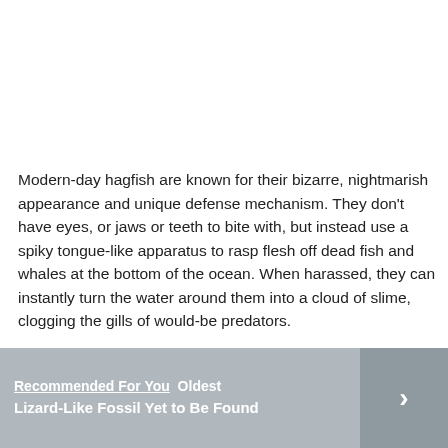Modern-day hagfish are known for their bizarre, nightmarish appearance and unique defense mechanism. They don't have eyes, or jaws or teeth to bite with, but instead use a spiky tongue-like apparatus to rasp flesh off dead fish and whales at the bottom of the ocean. When harassed, they can instantly turn the water around them into a cloud of slime, clogging the gills of would-be predators.
Recommended For You Oldest Lizard-Like Fossil Yet to Be Found